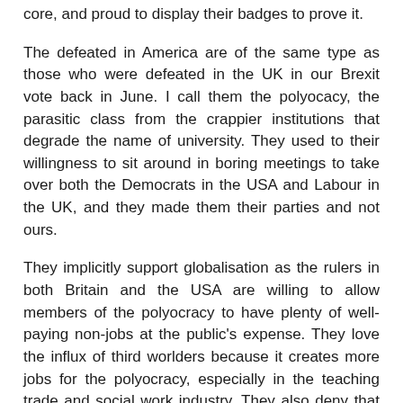core, and proud to display their badges to prove it.
The defeated in America are of the same type as those who were defeated in the UK in our Brexit vote back in June. I call them the polyocacy, the parasitic class from the crappier institutions that degrade the name of university. They used to their willingness to sit around in boring meetings to take over both the Democrats in the USA and Labour in the UK, and they made them their parties and not ours.
They implicitly support globalisation as the rulers in both Britain and the USA are willing to allow members of the polyocracy to have plenty of well-paying non-jobs at the public's expense. They love the influx of third worlders because it creates more jobs for the polyocracy, especially in the teaching trade and social work industry. They also deny that this influx is directly responsible for the lack of well-paying, unionised jobs for us.
Yesterday they were schlonged, as the American say, or given a right hard shafting as we put it. Yesterday was in so many ways, a very good day for ordinary people indeed.